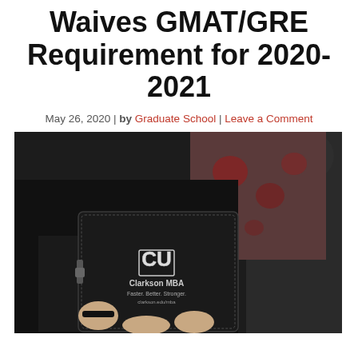Waives GMAT/GRE Requirement for 2020-2021
May 26, 2020 | by Graduate School | Leave a Comment
[Figure (photo): Person in black clothing holding a black leather portfolio/binder with Clarkson MBA logo, CU emblem, and text 'Clarkson MBA Faster. Better. Stronger. clarkson.edu/mba'. Another person in dark clothing is partially visible in the background with a floral background element.]